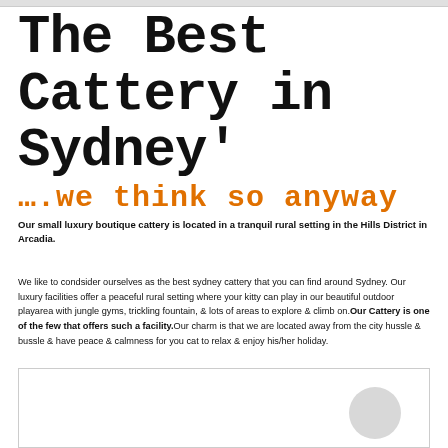The Best Cattery in Sydney'
….we think so anyway
Our small luxury boutique cattery is located in a tranquil rural setting in the Hills District in Arcadia.
We like to condsider ourselves as the best sydney cattery that you can find around Sydney. Our luxury facilities offer a peaceful rural setting where your kitty can play in our beautiful outdoor playarea with jungle gyms, trickling fountain, & lots of areas to explore & climb on.Our Cattery is one of the few that offers such a facility.Our charm is that we are located away from the city hussle & bussle & have peace & calmness for you cat to relax & enjoy his/her holiday.
[Figure (other): Bottom bordered box with a grey circle element in lower right corner]